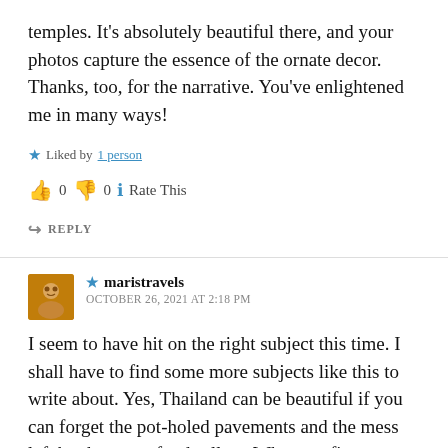temples. It's absolutely beautiful there, and your photos capture the essence of the ornate decor. Thanks, too, for the narrative. You've enlightened me in many ways!
★ Liked by 1 person
👍 0 👎 0 ℹ Rate This
↪ REPLY
★ maristravels
OCTOBER 26, 2021 AT 2:18 PM
I seem to have hit on the right subject this time. I shall have to find some more subjects like this to write about. Yes, Thailand can be beautiful if you can forget the pot-holed pavements and the mess left by the street food sellers. When we first went